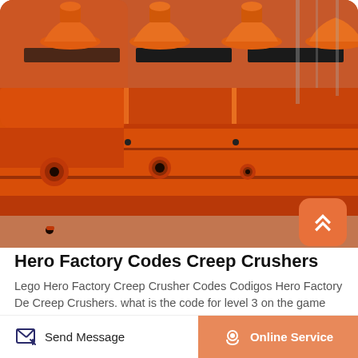[Figure (photo): Industrial orange mining/flotation machinery equipment, large orange metal frame and components, photographed outdoors]
Hero Factory Codes Creep Crushers
Lego Hero Factory Creep Crusher Codes Codigos Hero Factory De Creep Crushers. what is the code for level 3 on the game cartoon hero the q a wiki what is lego hero factory creep crushers games Lego Hero Factory Creep Crusher Stormer 2.0.
Send Message | Online Service